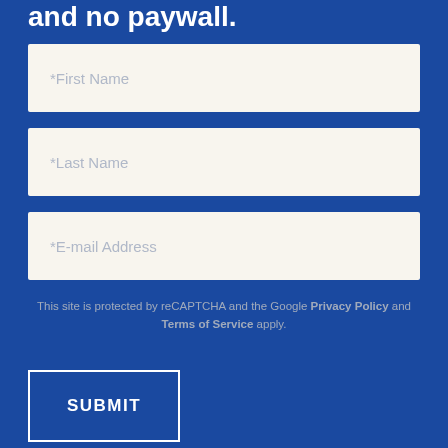and no paywall.
*First Name
*Last Name
*E-mail Address
This site is protected by reCAPTCHA and the Google Privacy Policy and Terms of Service apply.
SUBMIT